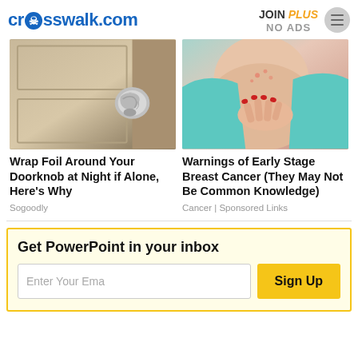crosswalk.com — JOIN PLUS NO ADS
[Figure (photo): A door knob wrapped in aluminum foil]
[Figure (photo): A woman in a teal shirt touching her chest/neck area with red fingernails, showing skin irritation]
Wrap Foil Around Your Doorknob at Night if Alone, Here's Why
Sogoodly
Warnings of Early Stage Breast Cancer (They May Not Be Common Knowledge)
Cancer | Sponsored Links
Get PowerPoint in your inbox
Enter Your Ema
Sign Up